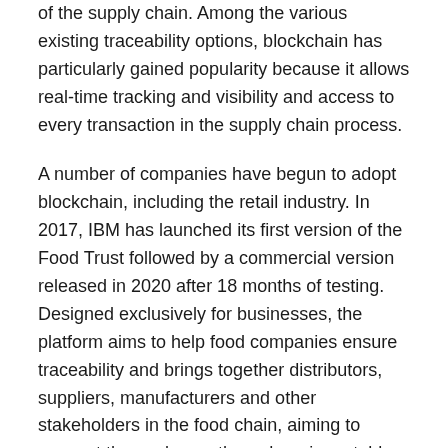of the supply chain. Among the various existing traceability options, blockchain has particularly gained popularity because it allows real-time tracking and visibility and access to every transaction in the supply chain process.
A number of companies have begun to adopt blockchain, including the retail industry. In 2017, IBM has launched its first version of the Food Trust followed by a commercial version released in 2020 after 18 months of testing. Designed exclusively for businesses, the platform aims to help food companies ensure traceability and brings together distributors, suppliers, manufacturers and other stakeholders in the food chain, aiming to connect these players through an immutable and shared record of food system data.—It was the American giant Walmart that started the trend in early 2018 with the aim of optimizing food quality and traceability.
Carrefour followed suit in Europe and started to gradually